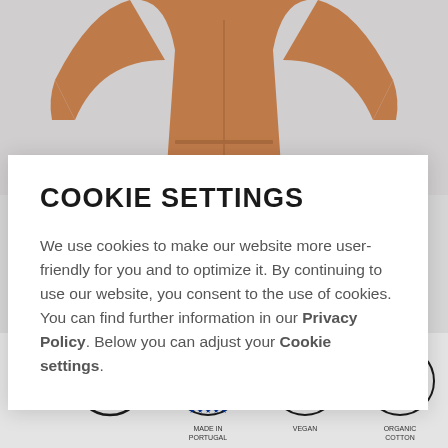[Figure (photo): Brown/rust colored hoodie worn by a person, cropped at torso level, shown against a light gray background]
COOKIE SETTINGS
We use cookies to make our website more user-friendly for you and to optimize it. By continuing to use our website, you consent to the use of cookies. You can find further information in our Privacy Policy. Below you can adjust your Cookie settings.
[Figure (illustration): Four circular badge icons: NEW badge, EU MADE IN PORTUGAL badge with stars, VEGAN badge with checkmark, ORGANIC COTTON badge with tree icon]